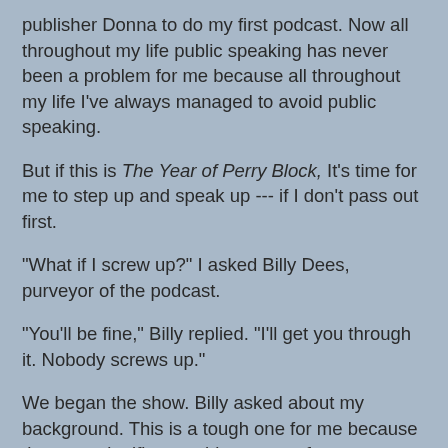publisher Donna to do my first podcast. Now all throughout my life public speaking has never been a problem for me because all throughout my life I've always managed to avoid public speaking.
But if this is The Year of Perry Block, It's time for me to step up and speak up --- if I don't pass out first.
"What if I screw up?" I asked Billy Dees, purveyor of the podcast.
"You'll be fine," Billy replied. "I'll get you through it. Nobody screws up."
We began the show. Billy asked about my background. This is a tough one for me because the most significant achievement of my adolescence was breaking my addiction to destroying Styrofoam.  But I exaggerated the experience, and I think it played well.
Moving on, we discussed how I attended the one comedy club in Philadelphia  in the early 70's to watch my friend perform at a legendary historic comedy spot to the Exit Sign. M